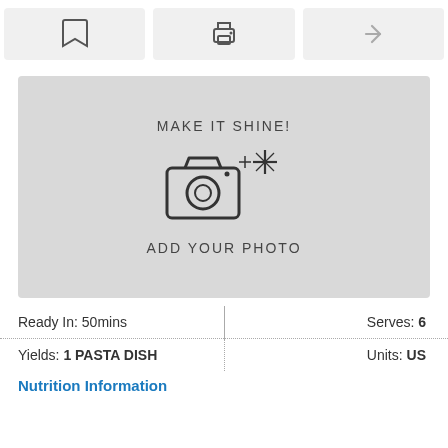[Figure (screenshot): Toolbar with three buttons: bookmark icon, print icon, and share/forward icon on light gray backgrounds]
[Figure (illustration): Gray placeholder box with 'MAKE IT SHINE!' text, a camera icon with sparkles, and 'ADD YOUR PHOTO' text below]
Ready In: 50mins
Serves: 6
Yields: 1 PASTA DISH
Units: US
Nutrition Information